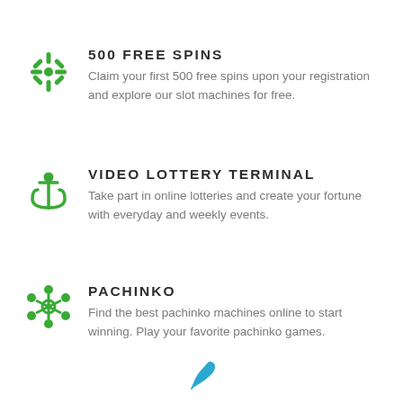500 FREE SPINS
Claim your first 500 free spins upon your registration and explore our slot machines for free.
VIDEO LOTTERY TERMINAL
Take part in online lotteries and create your fortune with everyday and weekly events.
PACHINKO
Find the best pachinko machines online to start winning. Play your favorite pachinko games.
[Figure (logo): A green leaf logo icon at the bottom center of the page]